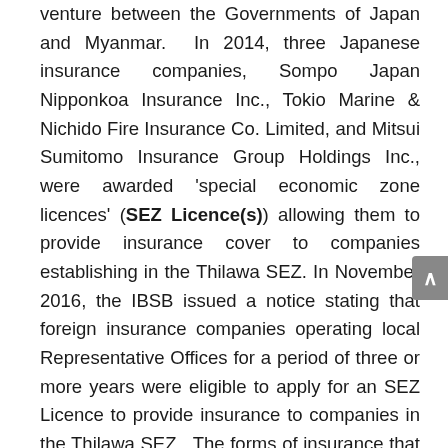venture between the Governments of Japan and Myanmar. In 2014, three Japanese insurance companies, Sompo Japan Nipponkoa Insurance Inc., Tokio Marine & Nichido Fire Insurance Co. Limited, and Mitsui Sumitomo Insurance Group Holdings Inc., were awarded 'special economic zone licences' (SEZ Licence(s)) allowing them to provide insurance cover to companies establishing in the Thilawa SEZ. In November 2016, the IBSB issued a notice stating that foreign insurance companies operating local Representative Offices for a period of three or more years were eligible to apply for an SEZ Licence to provide insurance to companies in the Thilawa SEZ. The forms of insurance that can be provided by an SEZ Licence holder are limited to:-